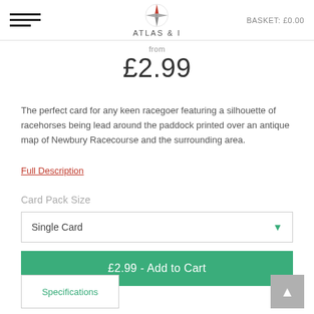ATLAS & I | BASKET: £0.00
from
£2.99
The perfect card for any keen racegoer featuring a silhouette of racehorses being lead around the paddock printed over an antique map of Newbury Racecourse and the surrounding area.
Full Description
Card Pack Size
Single Card
£2.99 - Add to Cart
Specifications